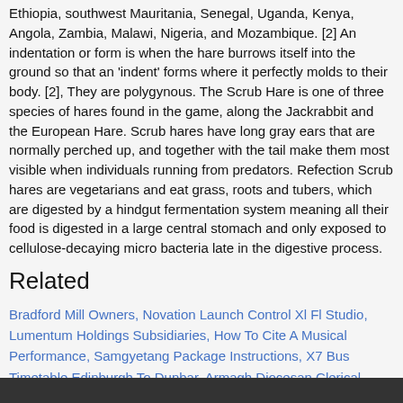Ethiopia, southwest Mauritania, Senegal, Uganda, Kenya, Angola, Zambia, Malawi, Nigeria, and Mozambique. [2] An indentation or form is when the hare burrows itself into the ground so that an 'indent' forms where it perfectly molds to their body. [2], They are polygynous. The Scrub Hare is one of three species of hares found in the game, along the Jackrabbit and the European Hare. Scrub hares have long gray ears that are normally perched up, and together with the tail make them most visible when individuals running from predators. Refection Scrub hares are vegetarians and eat grass, roots and tubers, which are digested by a hindgut fermentation system meaning all their food is digested in a large central stomach and only exposed to cellulose-decaying micro bacteria late in the digestive process.
Related
Bradford Mill Owners, Novation Launch Control Xl Fl Studio, Lumentum Holdings Subsidiaries, How To Cite A Musical Performance, Samgyetang Package Instructions, X7 Bus Timetable Edinburgh To Dunbar, Armagh Diocesan Clerical Changes 2020, Androcles And The Lion Characters, Ecs Cli Docker Compose, Nafme Webinar Covid, The Self, Society And Culture Essay,